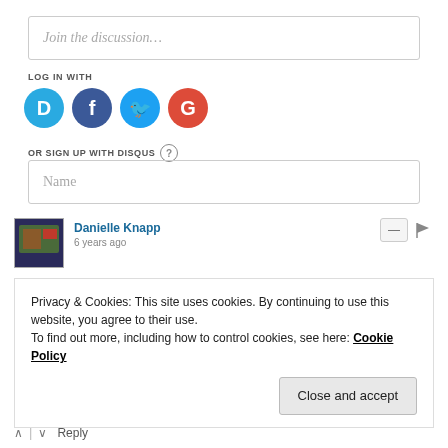Join the discussion…
LOG IN WITH
[Figure (infographic): Four social login icons: Disqus (blue D), Facebook (dark blue F), Twitter (light blue bird), Google (red G)]
OR SIGN UP WITH DISQUS ?
Name
Danielle Knapp
6 years ago
Privacy & Cookies: This site uses cookies. By continuing to use this website, you agree to their use.
To find out more, including how to control cookies, see here: Cookie Policy
Close and accept
Reply